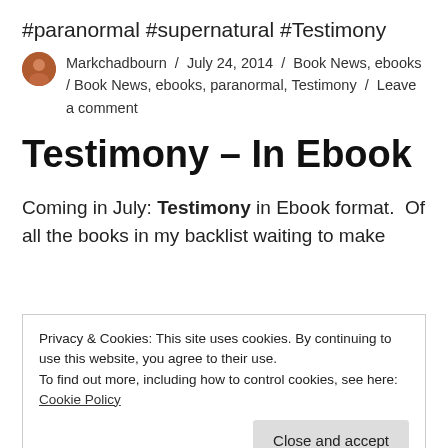#paranormal #supernatural #Testimony
Markchadbourn / July 24, 2014 / Book News, ebooks / Book News, ebooks, paranormal, Testimony / Leave a comment
Testimony – In Ebook
Coming in July: Testimony in Ebook format. Of all the books in my backlist waiting to make
Privacy & Cookies: This site uses cookies. By continuing to use this website, you agree to their use.
To find out more, including how to control cookies, see here:
Cookie Policy
Close and accept
the publisher's release form